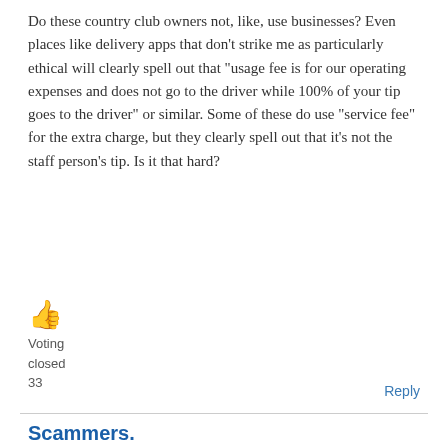Do these country club owners not, like, use businesses? Even places like delivery apps that don't strike me as particularly ethical will clearly spell out that "usage fee is for our operating expenses and does not go to the driver while 100% of your tip goes to the driver" or similar. Some of these do use "service fee" for the extra charge, but they clearly spell out that it's not the staff person's tip. Is it that hard?
👍 Voting closed 33
Reply
Scammers.
By Lee on Mon, 08/23/2021 - 1:41pm.
Sometimes it seems there is no end to greed.